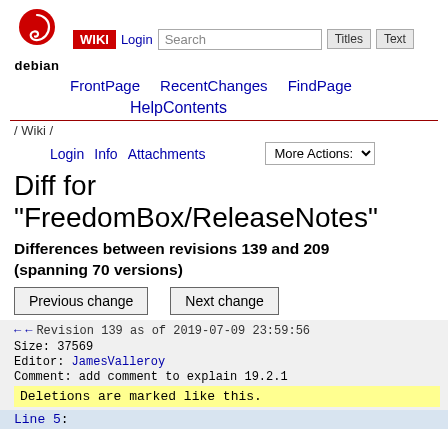WIKI  Login  Search  Titles  Text
FrontPage  RecentChanges  FindPage
[Figure (logo): Debian swirl logo with 'debian' text below]
HelpContents
/ Wiki /
Login  Info  Attachments  More Actions:
Diff for "FreedomBox/ReleaseNotes"
Differences between revisions 139 and 209 (spanning 70 versions)
Previous change   Next change
Revision 139 as of 2019-07-09 23:59:56
Size: 37569
Editor: JamesValleroy
Comment: add comment to explain 19.2.1
Deletions are marked like this.
Line 5: